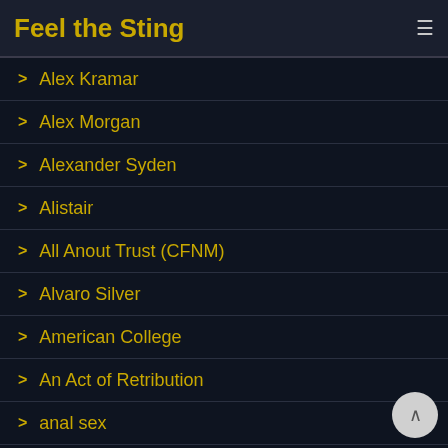Feel the Sting
> Alex Kramar
> Alex Morgan
> Alexander Syden
> Alistair
> All Anout Trust (CFNM)
> Alvaro Silver
> American College
> An Act of Retribution
> anal sex
> Anderson
> Andreas